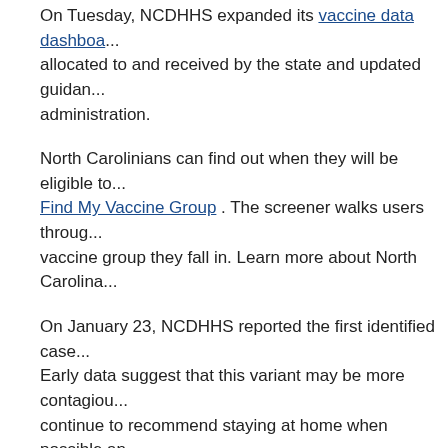On Tuesday, NCDHHS expanded its vaccine data dashboard to include data on doses allocated to and received by the state and updated guidance on vaccine administration.
North Carolinians can find out when they will be eligible to get vaccinated using Find My Vaccine Group . The screener walks users through questions to determine what vaccine group they fall in. Learn more about North Carolina's...
On January 23, NCDHHS reported the first identified case... Early data suggest that this variant may be more contagious... continue to recommend staying at home when possible and... Wait 6 feet apart and Wash your hands.
Dr. Cohen provided an update on North Carolina's data an...
Trajectory in COVID-Like Illness (CLI) Surveillance Over 1...
North Carolina's syndromic surveillance trend for COV...